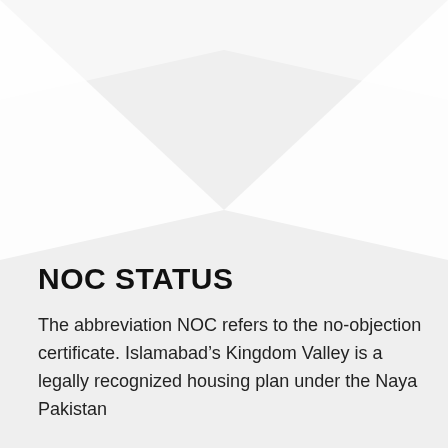[Figure (illustration): A large downward-pointing chevron or V-shape graphic in light gray/white on a light gray background, occupying the upper half of the page.]
NOC STATUS
The abbreviation NOC refers to the no-objection certificate. Islamabad’s Kingdom Valley is a legally recognized housing plan under the Naya Pakistan